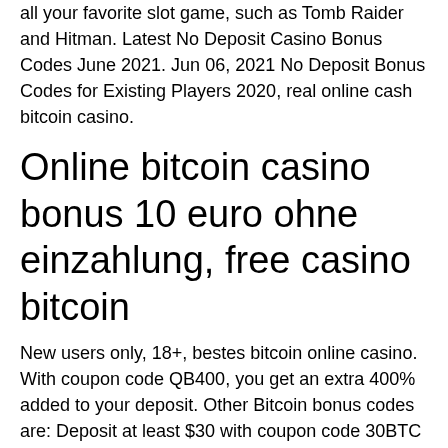all your favorite slot game, such as Tomb Raider and Hitman. Latest No Deposit Casino Bonus Codes June 2021. Jun 06, 2021 No Deposit Bonus Codes for Existing Players 2020, real online cash bitcoin casino.
Online bitcoin casino bonus 10 euro ohne einzahlung, free casino bitcoin
New users only, 18+, bestes bitcoin online casino. With coupon code QB400, you get an extra 400% added to your deposit. Other Bitcoin bonus codes are: Deposit at least $30 with coupon code 30BTC for a 200% deposit bonus and $200 free chip Deposit at least $50 with coupon code 50BTC for a 300% deposit bonus and $300 free chip. Slotum Casino No Deposit Bonus Codes